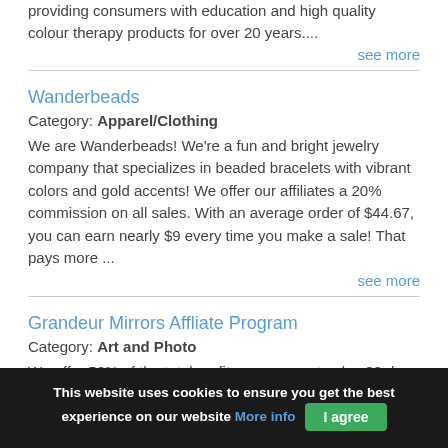providing consumers with education and high quality colour therapy products for over 20 years....
see more
Wanderbeads
Category: Apparel/Clothing
We are Wanderbeads! We're a fun and bright jewelry company that specializes in beaded bracelets with vibrant colors and gold accents! We offer our affiliates a 20% commission on all sales. With an average order of $44.67, you can earn nearly $9 every time you make a sale! That pays more ...
see more
Grandeur Mirrors Affliate Program
Category: Art and Photo
We offer 50% of the total profits you generate plus 30 days
This website uses cookies to ensure you get the best experience on our website More info I agree